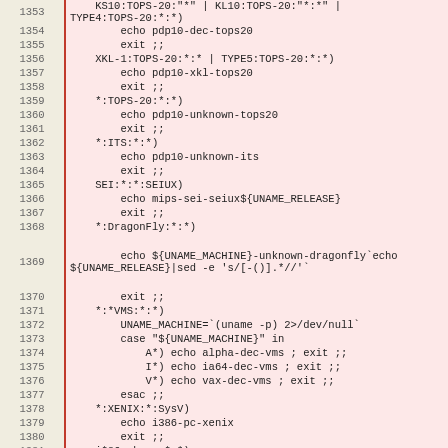| Line | Code |
| --- | --- |
| 1353 | KS10:TOPS-20:"*" | KL10:TOPS-20:"*:*" | TYPE4:TOPS-20:*:*) |
| 1354 |         echo pdp10-dec-tops20 |
| 1355 |         exit ;; |
| 1356 |     XKL-1:TOPS-20:*:* | TYPE5:TOPS-20:*:*) |
| 1357 |         echo pdp10-xkl-tops20 |
| 1358 |         exit ;; |
| 1359 |     *:TOPS-20:*:*) |
| 1360 |         echo pdp10-unknown-tops20 |
| 1361 |         exit ;; |
| 1362 |     *:ITS:*:*) |
| 1363 |         echo pdp10-unknown-its |
| 1364 |         exit ;; |
| 1365 |     SEI:*:*:SEIUX) |
| 1366 |         echo mips-sei-seiux${UNAME_RELEASE} |
| 1367 |         exit ;; |
| 1368 |     *:DragonFly:*:*) |
| 1369 |         echo ${UNAME_MACHINE}-unknown-dragonfly`echo ${UNAME_RELEASE}|sed -e 's/[-()].*//'` |
| 1370 |         exit ;; |
| 1371 |     *:*VMS:*:*) |
| 1372 |         UNAME_MACHINE=`(uname -p) 2>/dev/null` |
| 1373 |         case "${UNAME_MACHINE}" in |
| 1374 |             A*) echo alpha-dec-vms ; exit ;; |
| 1375 |             I*) echo ia64-dec-vms ; exit ;; |
| 1376 |             V*) echo vax-dec-vms ; exit ;; |
| 1377 |         esac ;; |
| 1378 |     *:XENIX:*:SysV) |
| 1379 |         echo i386-pc-xenix |
| 1380 |         exit ;; |
| 1381 |     i*86:skyos:*:*) |
| 1382 |         echo ${UNAME_MACHINE}-pc-skyos`echo |